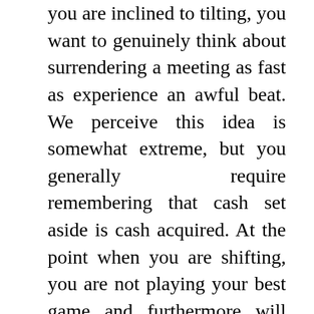you are inclined to tilting, you want to genuinely think about surrendering a meeting as fast as experience an awful beat. We perceive this idea is somewhat extreme, but you generally require remembering that cash set aside is cash acquired. At the point when you are shifting, you are not playing your best game and furthermore will probably wind up losing a lot of money. For the people who have much better slant control, you may not need to stop. You may essentially have to venture a long way from just a tad to